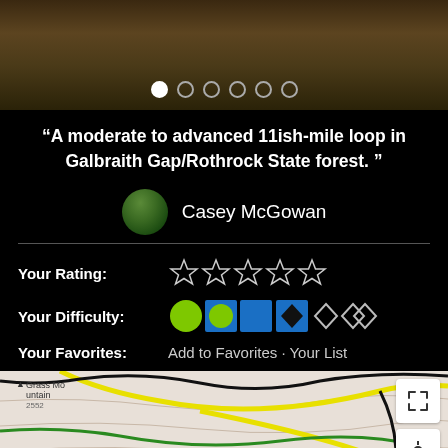[Figure (photo): Top photo strip showing forest/trail scene with pagination dots below]
“A moderate to advanced 11ish-mile loop in Galbraith Gap/Rothrock State forest. ”
Casey McGowan
Your Rating: (5 empty stars)
Your Difficulty: (difficulty icons: green circle, blue circle, blue square, black diamond, outline diamond, outline diamond)
Your Favorites: Add to Favorites · Your List
[Figure (map): Topographic trail map showing Grass Mountain area with colored trail lines (yellow, green, black) and map control buttons]